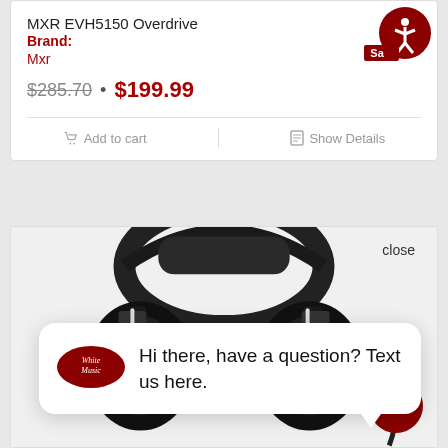MXR EVH5150 Overdrive
Brand:
Mxr
$285.70 • $199.99
Add to cart   Show Details
[Figure (photo): Headphones image (black over-ear headphones) with a chat popup overlay saying 'Hi there, have a question? Text us here.' and a close button. A dark red chat FAB button is visible in the bottom right.]